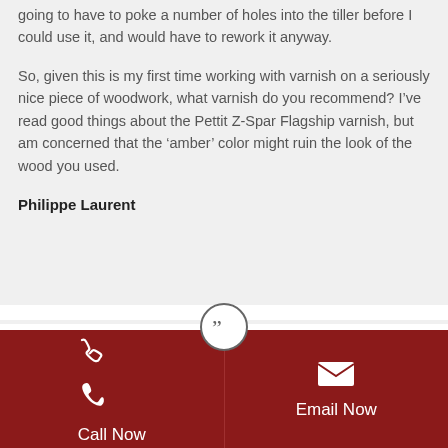going to have to poke a number of holes into the tiller before I could use it, and would have to rework it anyway.

So, given this is my first time working with varnish on a seriously nice piece of woodwork, what varnish do you recommend? I've read good things about the Pettit Z-Spar Flagship varnish, but am concerned that the 'amber' color might ruin the look of the wood you used.
Philippe Laurent
[Figure (other): Closing double quotation marks icon in a circle, used as a decorative separator]
Call Now
Email Now